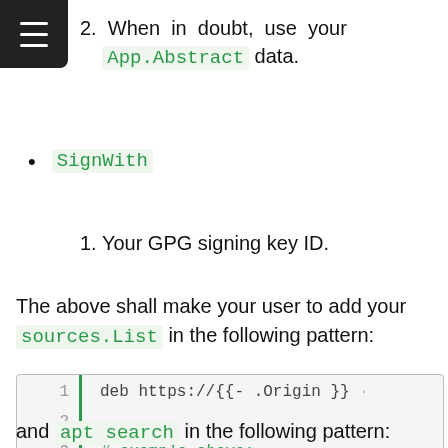2. When in doubt, use your App.Abstract data.
SignWith
1. Your GPG signing key ID.
The above shall make your user to add your sources.List in the following pattern:
[Figure (screenshot): Code block showing line numbers 1-4 with a green left border. Line 1: deb https://{{- .Origin }} ... Line 2: (empty) Line 3: # example above: Line 4: deb https://monteur.zoralab]
and apt search in the following pattern: